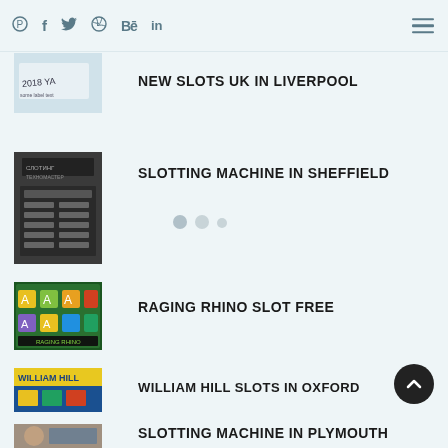Social media nav icons: Pinterest, Facebook, Twitter, Dribbble, Behance, LinkedIn; hamburger menu
[Figure (photo): Partial image of a card with '2018 YA' text visible, rotated/cropped]
NEW SLOTS UK IN LIVERPOOL
[Figure (photo): Close-up of a slotting machine label plate with Cyrillic text and data table]
SLOTTING MACHINE IN SHEFFIELD
[Figure (photo): Colorful slot machine screen showing Raging Rhino game]
RAGING RHINO SLOT FREE
[Figure (photo): William Hill branded slot machine banner image]
WILLIAM HILL SLOTS IN OXFORD
[Figure (photo): Partial human face / slotting machine in Plymouth thumbnail]
SLOTTING MACHINE IN PLYMOUTH